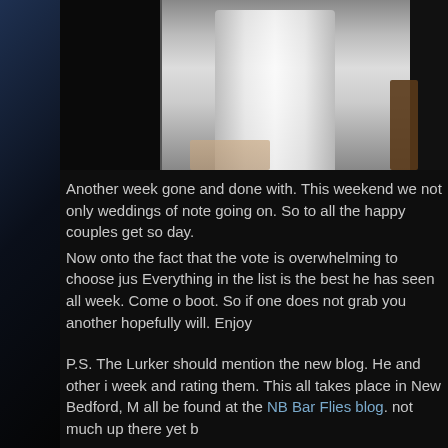[Figure (photo): Partial photo showing what appears to be a white pedestal or column, with bare feet visible and some outdoor pavement, plus another object on a wooden post to the right. The top portion is cut off by the page.]
Another week gone and done with. This weekend we not only weddings of note going on. So to all the happy couples get so day.
Now onto the fact that the vote is overwhelming to choose jus Everything in the list is the best he has seen all week. Come o boot. So if one does not grab you another hopefully will. Enjoy
P.S. The Lurker should mention the new blog. He and other i week and rating them. This all takes place in New Bedford, M all be found at the NB Bar Flies blog. not much up there yet b
P.S.S. If anyone readers of this post want the lurker to highlig